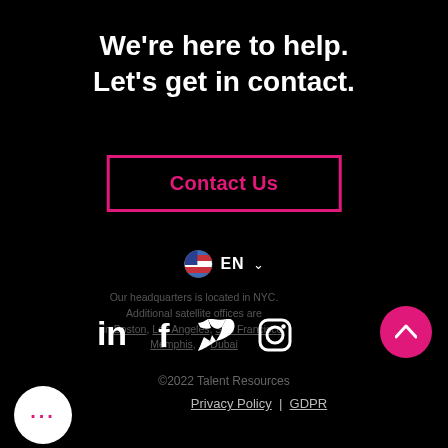We're here to help. Let's get in contact.
Contact Us
EN
Our headquarters is located in NYC. Additional satellite offices are in Boston, Los Angeles, San Francisco, Memphis, ... Dubai
[Figure (logo): Social media icons: LinkedIn, Facebook, Twitter, Instagram]
©2022 Talent Resources Privacy Policy | GDPR